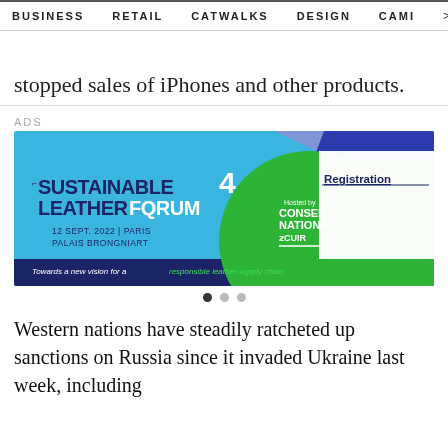BUSINESS   RETAIL   CATWALKS   DESIGN   CAMI  >
stopped sales of iPhones and other products.
ADS
[Figure (illustration): Advertisement banner for Sustainable Leather Forum 4. Blue and green background with dark blue and purple geometric shapes. Text: SUSTAINABLE LEATHER FORUM 4, 12 SEPT. 2022 | PARIS, PALAIS BRONGNIART. Hosted by CONSEIL NATIONAL DU CUIR. Registration. Towards a new vision for a responsible leather supply chain.]
Western nations have steadily ratcheted up sanctions on Russia since it invaded Ukraine last week, including